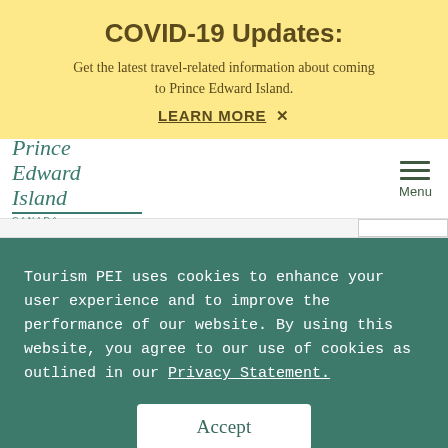COVID-19 Updates:
Get the latest travel-related information about coming to Prince Edward Island.
LEARN MORE  ×
[Figure (logo): Prince Edward Island Canada logo in teal italic script with underline]
Menu
Tourism PEI uses cookies to enhance your user experience and to improve the performance of our website. By using this website, you agree to our use of cookies as outlined in our Privacy Statement.
Accept